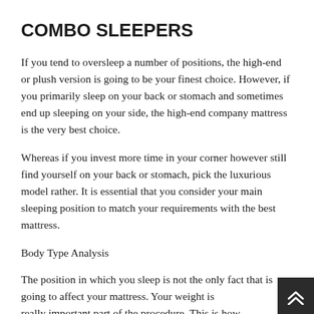COMBO SLEEPERS
If you tend to oversleep a number of positions, the high-end or plush version is going to be your finest choice. However, if you primarily sleep on your back or stomach and sometimes end up sleeping on your side, the high-end company mattress is the very best choice.
Whereas if you invest more time in your corner however still find yourself on your back or stomach, pick the luxurious model rather. It is essential that you consider your main sleeping position to match your requirements with the best mattress.
Body Type Analysis
The position in which you sleep is not the only fact that is going to affect your mattress. Your weight is really important part of the procedure. This is how